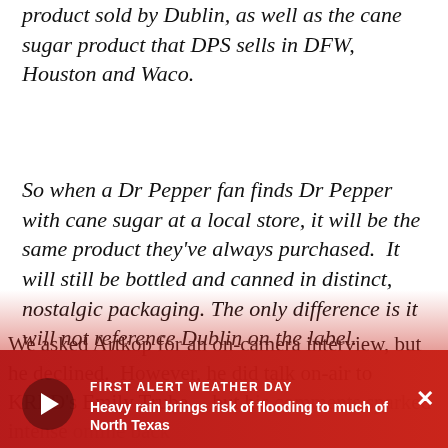product sold by Dublin, as well as the cane sugar product that DPS sells in DFW, Houston and Waco.
So when a Dr Pepper fan finds Dr Pepper with cane sugar at a local store, it will be the same product they've always purchased.  It will still be bottled and canned in distinct, nostalgic packaging.  The only difference is it will not reference Dublin on the label.
We asked Artkop for an on-camera interview, but he declined.  However, he did talk on-air to KRLD's Emily Trube -- but his comments sparked intense online back...
FIRST ALERT WEATHER DAY — Heavy rain brings risk of flooding to much of North Texas